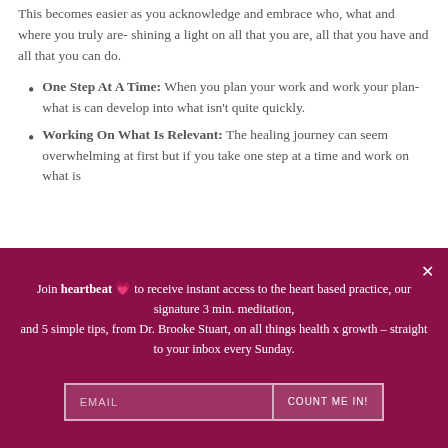This becomes easier as you acknowledge and embrace who, what and where you truly are- shining a light on all that you are, all that you have and all that you can do.
One Step At A Time: When you plan your work and work your plan- what is can develop into what isn't quite quickly.
Working On What Is Relevant: The healing journey can seem overwhelming at first but if you take one step at a time and work on what is
Join heartbeat 💗 to receive instant access to the heart based practice, our signature 3 min. meditation, and 5 simple tips, from Dr. Brooke Stuart, on all things health x growth – straight to your inbox every Sunday.